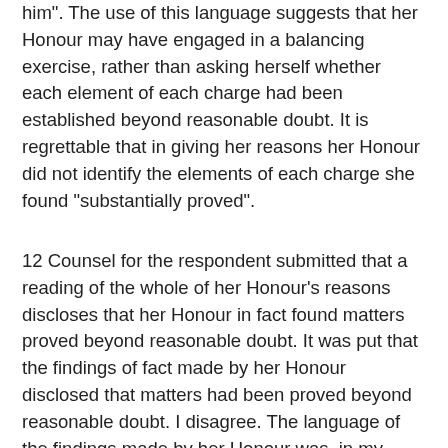him". The use of this language suggests that her Honour may have engaged in a balancing exercise, rather than asking herself whether each element of each charge had been established beyond reasonable doubt. It is regrettable that in giving her reasons her Honour did not identify the elements of each charge she found “substantially proved”.
12 Counsel for the respondent submitted that a reading of the whole of her Honour’s reasons discloses that her Honour in fact found matters proved beyond reasonable doubt. It was put that the findings of fact made by her Honour disclosed that matters had been proved beyond reasonable doubt. I disagree. The language of the findings made by her Honour was, in my view, equally apposite to a case where the burden of proof was something less than beyond reasonable doubt. It was language of a kind that is often used in the